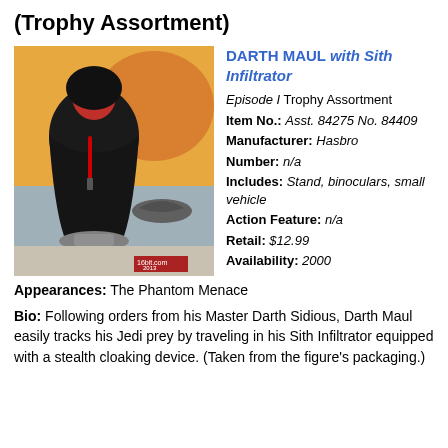(Trophy Assortment)
[Figure (photo): Photo of Darth Maul action figure in dark robes holding a lightsaber, standing on a base, with a small Sith Infiltrator vehicle model. Orange background. Watermark: 16bit.com 2013]
DARTH MAUL with Sith Infiltrator
Episode I Trophy Assortment
Item No.: Asst. 84275 No. 84409
Manufacturer: Hasbro
Number: n/a
Includes: Stand, binoculars, small vehicle
Action Feature: n/a
Retail: $12.99
Availability: 2000
Appearances: The Phantom Menace
Bio: Following orders from his Master Darth Sidious, Darth Maul easily tracks his Jedi prey by traveling in his Sith Infiltrator equipped with a stealth cloaking device. (Taken from the figure's packaging.)